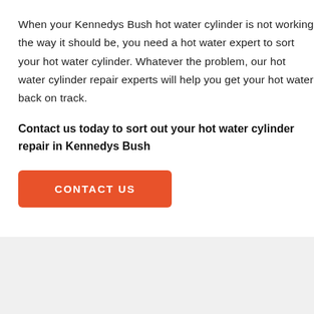When your Kennedys Bush hot water cylinder is not working the way it should be, you need a hot water expert to sort your hot water cylinder. Whatever the problem, our hot water cylinder repair experts will help you get your hot water back on track.
Contact us today to sort out your hot water cylinder repair in Kennedys Bush
CONTACT US